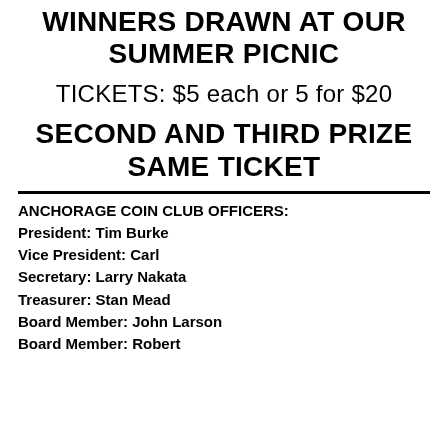WINNERS DRAWN AT OUR SUMMER PICNIC
TICKETS: $5 each or 5 for $20
SECOND AND THIRD PRIZE SAME TICKET
ANCHORAGE COIN CLUB OFFICERS:
President: Tim Burke
Vice President: Carl
Secretary: Larry Nakata
Treasurer: Stan Mead
Board Member: John Larson
Board Member: Robert